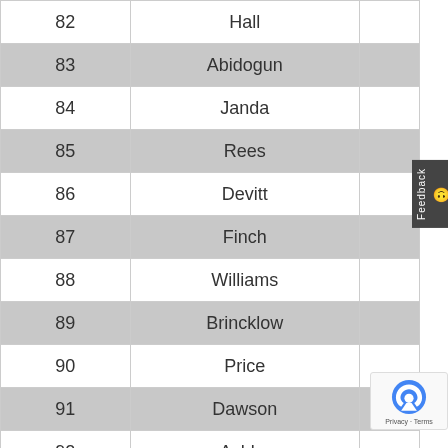| # | Name |  |
| --- | --- | --- |
| 82 | Hall |  |
| 83 | Abidogun |  |
| 84 | Janda |  |
| 85 | Rees |  |
| 86 | Devitt |  |
| 87 | Finch |  |
| 88 | Williams |  |
| 89 | Brincklow |  |
| 90 | Price |  |
| 91 | Dawson |  |
| 92 | Ashby |  |